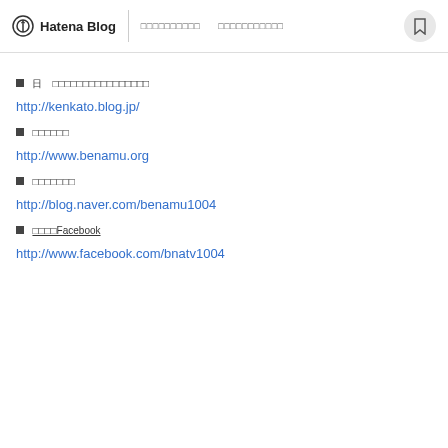Hatena Blog
■日　□□□□□□□□□□□□□□□□
http://kenkato.blog.jp/
■□□□□□□
http://www.benamu.org
■□□□□□□□
http://blog.naver.com/benamu1004
■□□□□Facebook
http://www.facebook.com/bnatv1004